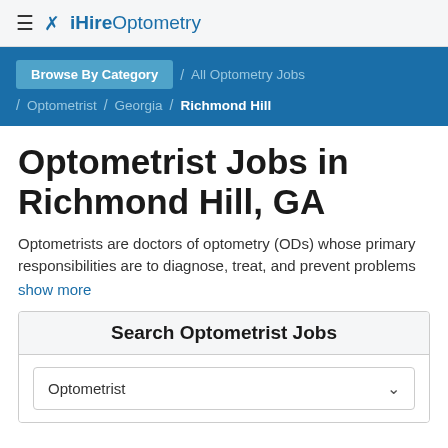≡ ✗ iHireOptometry
Browse By Category / All Optometry Jobs / Optometrist / Georgia / Richmond Hill
Optometrist Jobs in Richmond Hill, GA
Optometrists are doctors of optometry (ODs) whose primary responsibilities are to diagnose, treat, and prevent problems
show more
Search Optometrist Jobs
Optometrist